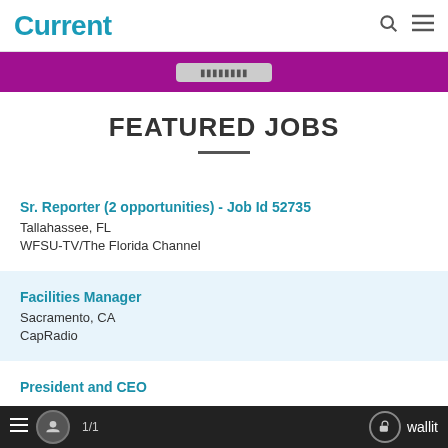Current
[Figure (illustration): Purple banner with a grey button in the center]
FEATURED JOBS
Sr. Reporter (2 opportunities) - Job Id 52735
Tallahassee, FL
WFSU-TV/The Florida Channel
Facilities Manager
Sacramento, CA
CapRadio
President and CEO
1/1  wallit